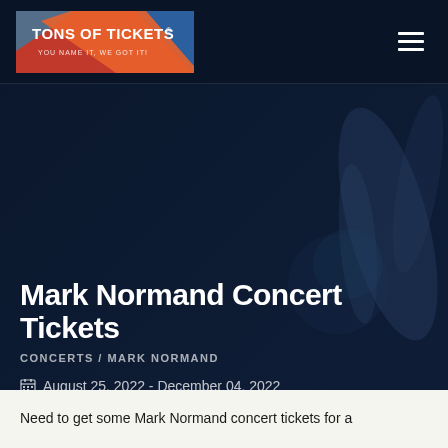[Figure (logo): Tons of Tickets logo with orange/blue geometric design and text 'TONS OF TICKETS® YOU NAME IT, WE GOT IT!']
Mark Normand Concert Tickets
CONCERTS / MARK NORMAND
August 25, 2022 - December 04, 2022
Need to get some Mark Normand concert tickets for a